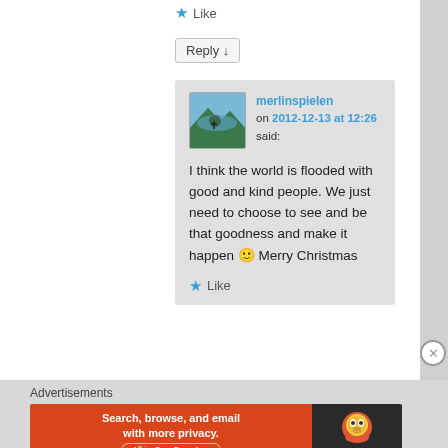★ Like
Reply ↓
merlinspielen on 2012-12-13 at 12:26 said:
I think the world is flooded with good and kind people. We just need to choose to see and be that goodness and make it happen 🙂 Merry Christmas
★ Like
Advertisements
[Figure (screenshot): DuckDuckGo advertisement banner: 'Search, browse, and email with more privacy. All in One Free App' on orange background with DuckDuckGo duck logo on dark background]